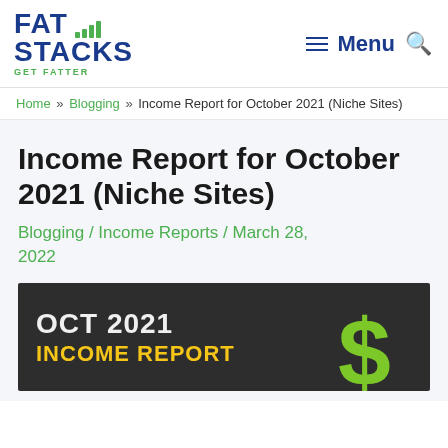[Figure (logo): Fat Stacks blog logo with bar chart icon and tagline GET FATTER]
≡ Menu 🔍
Home » Blogging » Income Report for October 2021 (Niche Sites)
Income Report for October 2021 (Niche Sites)
Blogging / Income Reports / March 28, 2022
[Figure (illustration): Dark banner image with text OCT 2021 INCOME REPORT and a large green dollar sign icon on the right]